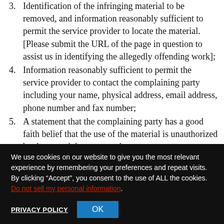3. Identification of the infringing material to be removed, and information reasonably sufficient to permit the service provider to locate the material. [Please submit the URL of the page in question to assist us in identifying the allegedly offending work];
4. Information reasonably sufficient to permit the service provider to contact the complaining party including your name, physical address, email address, phone number and fax number;
5. A statement that the complaining party has a good faith belief that the use of the material is unauthorized by the copyright agent; and
6. A statement that the information in the notification is accurate,
We use cookies on our website to give you the most relevant experience by remembering your preferences and repeat visits. By clicking “Accept”, you consent to the use of ALL the cookies. Do not sell my personal information.
PRIVACY POLICY  OK